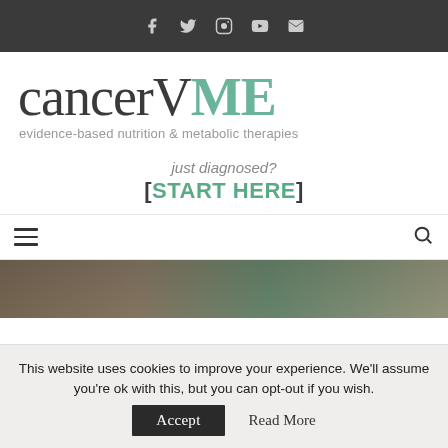Social icons bar: Facebook, Twitter, Instagram, YouTube, Email
cancerVME — evidence-based nutrition & metabolic therapies
just diagnosed? [START HERE]
Hamburger menu and search icon navigation bar
[Figure (photo): Partial photo strip visible at bottom of content area]
This website uses cookies to improve your experience. We'll assume you're ok with this, but you can opt-out if you wish. Accept Read More